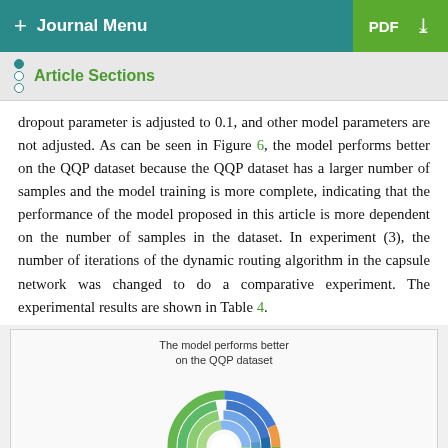+ Journal Menu   PDF ↓
Article Sections
dropout parameter is adjusted to 0.1, and other model parameters are not adjusted. As can be seen in Figure 6, the model performs better on the QQP dataset because the QQP dataset has a larger number of samples and the model training is more complete, indicating that the performance of the model proposed in this article is more dependent on the number of samples in the dataset. In experiment (3), the number of iterations of the dynamic routing algorithm in the capsule network was changed to do a comparative experiment. The experimental results are shown in Table 4.
[Figure (donut-chart): A multi-ring donut chart titled 'The model performs better on the QQP dataset'. The chart shows concentric rings in green, blue, orange, and yellow segments representing model performance data on the QQP dataset.]